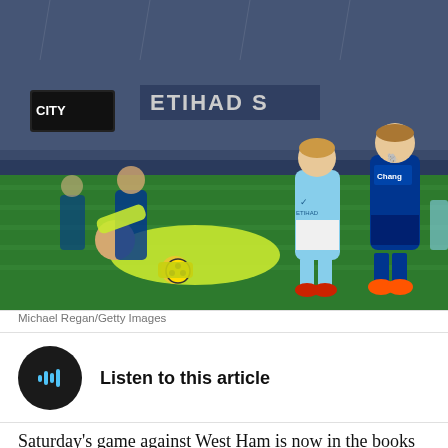[Figure (photo): Football match action photo: A Manchester City player in light blue kit dribbles past a goalkeeper in yellow-green kit who is sliding on the ground, while an Everton player in dark blue kit runs nearby. Etihad Stadium signage visible in background with crowd.]
Michael Regan/Getty Images
Listen to this article
Saturday's game against West Ham is now in the books and, depending on where you stand, you may